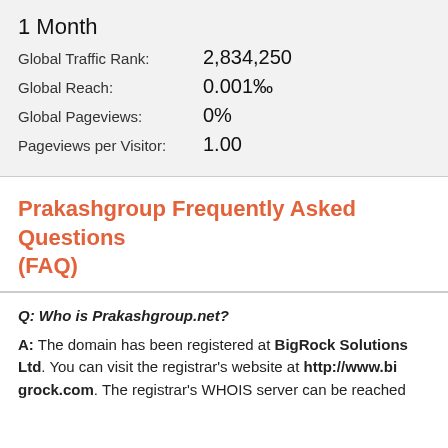1 Month
Global Traffic Rank: 2,834,250
Global Reach: 0.001‰
Global Pageviews: 0%
Pageviews per Visitor: 1.00
Prakashgroup Frequently Asked Questions (FAQ)
Q: Who is Prakashgroup.net?
A: The domain has been registered at BigRock Solutions Ltd. You can visit the registrar's website at http://www.bigrock.com. The registrar's WHOIS server can be reached